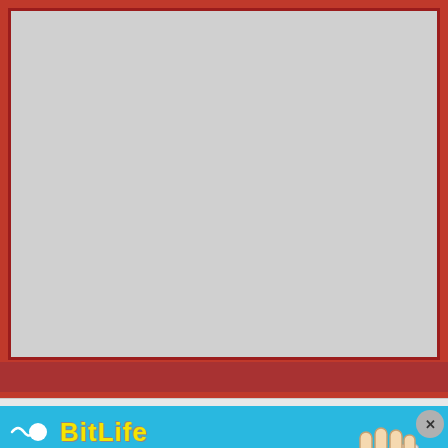[Figure (screenshot): A large gray blank rectangle representing an empty screen or canvas area with a dark red border, set inside a red background frame. Below is a thick dark red horizontal bar.]
[Figure (illustration): BitLife mobile game advertisement banner with light blue background. Features the BitLife logo (yellow text with sperm cell icon), text 'NOW WITH GOD MODE' (GOD MODE in white text on dark blue badge), a yellow pointing hand icon in the center, and a cartoon hand pointing from the right side. Close button (X) and help (?) button in top-right corner.]